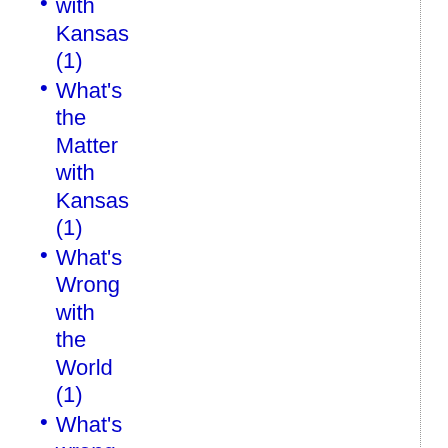with Kansas (1)
What's the Matter with Kansas (1)
What's Wrong with the World (1)
What's wrong with the world (1)
white deaths (1)
Whittaker Chambers